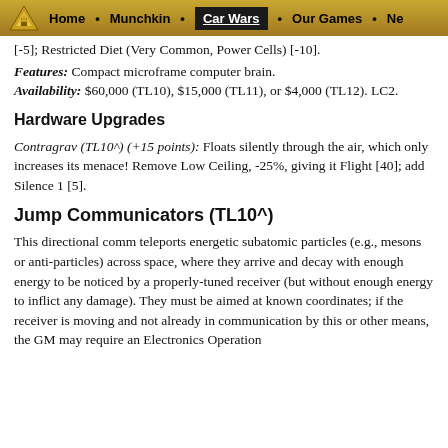Home • Munchkin • Car Wars • Our Games • Ne
[-5]; Restricted Diet (Very Common, Power Cells) [-10].
Features: Compact microframe computer brain. Availability: $60,000 (TL10), $15,000 (TL11), or $4,000 (TL12). LC2.
Hardware Upgrades
Contragrav (TL10^) (+15 points): Floats silently through the air, which only increases its menace! Remove Low Ceiling, -25%, giving it Flight [40]; add Silence 1 [5].
Jump Communicators (TL10^)
This directional comm teleports energetic subatomic particles (e.g., mesons or anti-particles) across space, where they arrive and decay with enough energy to be noticed by a properly-tuned receiver (but without enough energy to inflict any damage). They must be aimed at known coordinates; if the receiver is moving and not already in communication by this or other means, the GM may require an Electronics Operation